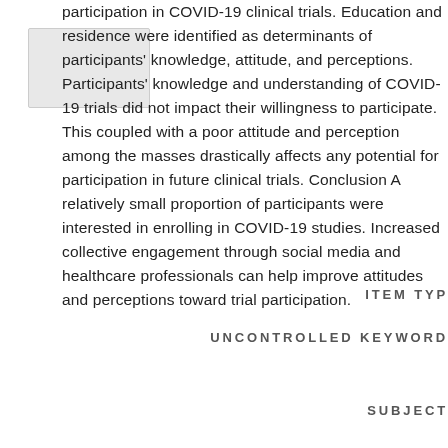participation in COVID-19 clinical trials. Education and residence were identified as determinants of participants' knowledge, attitude, and perceptions. Participants' knowledge and understanding of COVID-19 trials did not impact their willingness to participate. This coupled with a poor attitude and perception among the masses drastically affects any potential for participation in future clinical trials. Conclusion A relatively small proportion of participants were interested in enrolling in COVID-19 studies. Increased collective engagement through social media and healthcare professionals can help improve attitudes and perceptions toward trial participation.
ITEM TYPE
UNCONTROLLED KEYWORDS
SUBJECTS